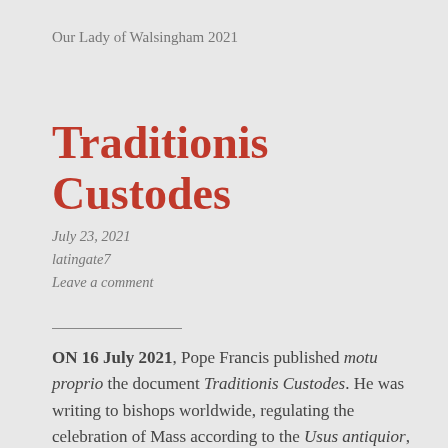Our Lady of Walsingham 2021
Traditionis Custodes
July 23, 2021
latingate7
Leave a comment
ON 16 July 2021, Pope Francis published motu proprio the document Traditionis Custodes. He was writing to bishops worldwide, regulating the celebration of Mass according to the Usus antiquior, the older Use. Since the Usus recentior,